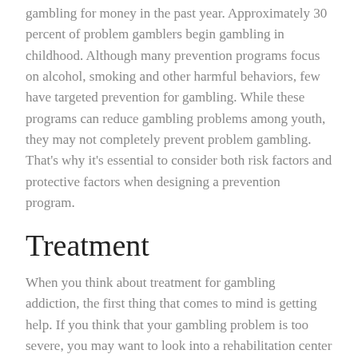gambling for money in the past year. Approximately 30 percent of problem gamblers begin gambling in childhood. Although many prevention programs focus on alcohol, smoking and other harmful behaviors, few have targeted prevention for gambling. While these programs can reduce gambling problems among youth, they may not completely prevent problem gambling. That's why it's essential to consider both risk factors and protective factors when designing a prevention program.
Treatment
When you think about treatment for gambling addiction, the first thing that comes to mind is getting help. If you think that your gambling problem is too severe, you may want to look into a rehabilitation center or 12 Step program. Alternatively, you may consider joining a support group, such as Gamblers Anonymous, which has helped many people to overcome their addiction. Depending on the type